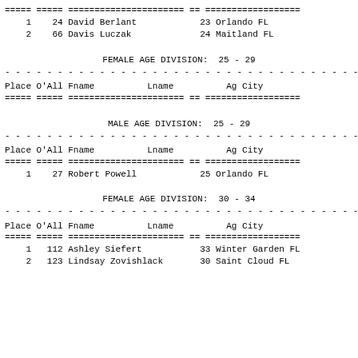| Place | O'All | Fname | Lname | Ag | City |
| --- | --- | --- | --- | --- | --- |
| 1 | 24 | David | Berlant | 23 | Orlando FL |
| 2 | 66 | Davis | Luczak | 24 | Maitland FL |
FEMALE AGE DIVISION:  25 - 29
| Place | O'All | Fname | Lname | Ag | City |
| --- | --- | --- | --- | --- | --- |
MALE AGE DIVISION:  25 - 29
| Place | O'All | Fname | Lname | Ag | City |
| --- | --- | --- | --- | --- | --- |
| 1 | 27 | Robert | Powell | 25 | Orlando FL |
FEMALE AGE DIVISION:  30 - 34
| Place | O'All | Fname | Lname | Ag | City |
| --- | --- | --- | --- | --- | --- |
| 1 | 112 | Ashley | Siefert | 33 | Winter Garden FL |
| 2 | 123 | Lindsay | Zovishlack | 30 | Saint Cloud FL |